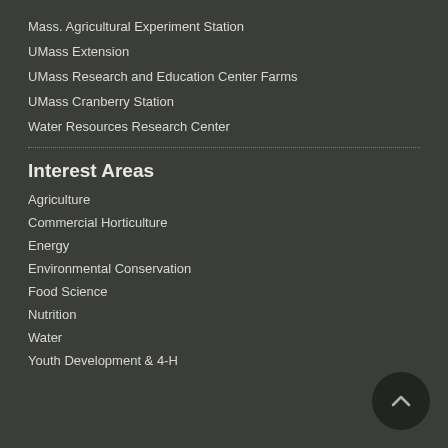Mass. Agricultural Experiment Station
UMass Extension
UMass Research and Education Center Farms
UMass Cranberry Station
Water Resources Research Center
Interest Areas
Agriculture
Commercial Horticulture
Energy
Environmental Conservation
Food Science
Nutrition
Water
Youth Development & 4-H